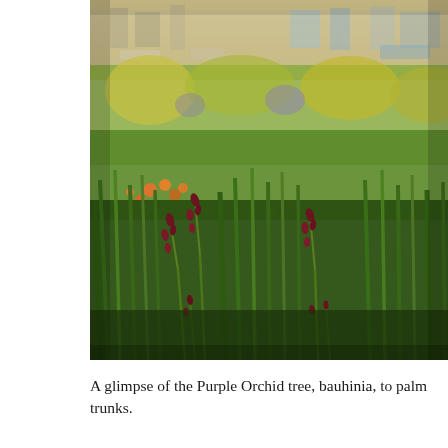[Figure (photo): A field of tall green grasses and wildflowers including orange blooms and dark red/maroon kangaroo paw-like flowers in the foreground, with a blurred background showing more greenery, yellow flowering shrubs, and an urban backdrop with buildings and vehicles visible at the horizon under a soft sky.]
A glimpse of the Purple Orchid tree, bauhinia, to palm trunks.